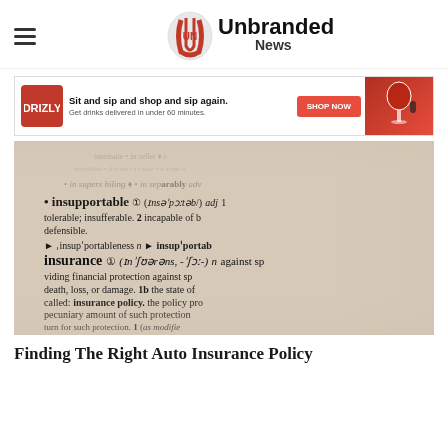Unbranded News
[Figure (photo): Advertisement banner for Drizly: 'Sit and sip and shop and sip again. Get drinks delivered in under 60 minutes.' with SHOP NOW button and image of wine glass with phone.]
[Figure (photo): Close-up photograph of a dictionary open to the definition of 'insurance', showing entries including 'insupportable', 'insup'portableness', and 'insurance' with its phonetic spelling and definition about providing financial protection against death, loss, or damage, and 'insurance policy'.]
Finding The Right Auto Insurance Policy